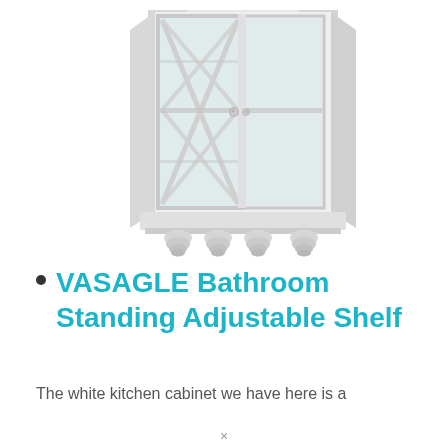[Figure (photo): A white bathroom corner floor cabinet with glass panel doors featuring X-pattern cross design, multiple shelves visible through the glass, decorative bun feet, and a chrome knob. The cabinet has an octagonal/angled shape for corner placement.]
VASAGLE Bathroom Standing Adjustable Shelf
The white kitchen cabinet we have here is a